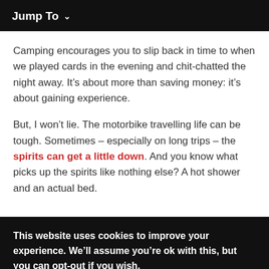Jump To
Camping encourages you to slip back in time to when we played cards in the evening and chit-chatted the night away. It’s about more than saving money: it’s about gaining experience.
But, I won’t lie. The motorbike travelling life can be tough. Sometimes – especially on long trips – the spirits can get a little down. And you know what picks up the spirits like nothing else? A hot shower and an actual bed.
This website uses cookies to improve your experience. We’ll assume you’re ok with this, but you can opt-out if you wish. More information. Close